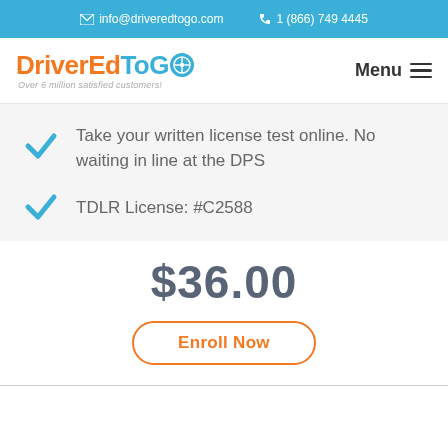✉ info@driveredtogo.com   ✆ 1 (866) 749 4445
[Figure (logo): DriverEdToGo logo with steering wheel icon and tagline 'Over 6 million satisfied customers!']
Take your written license test online. No waiting in line at the DPS
TDLR License: #C2588
$36.00
Enroll Now